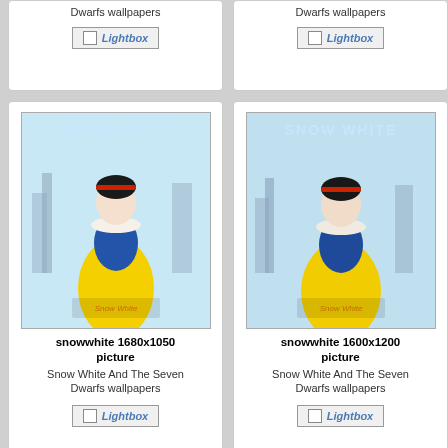[Figure (screenshot): Partial top row of image gallery cards showing 'Dwarfs wallpapers' text and Lightbox buttons (2 visible cards + partial 3rd)]
[Figure (screenshot): Gallery card: snowwhite 1680x1050 picture - Snow White And The Seven Dwarfs wallpapers with Snow White Disney image]
[Figure (screenshot): Gallery card: snowwhite 1600x1200 picture - Snow White And The Seven Dwarfs wallpapers with Snow White Disney image]
[Figure (screenshot): Partial gallery card: snowwhite 1... - Snow Whi... with dark fantasy image (partially visible)]
[Figure (screenshot): Gallery card: nemo twitter background picture - Nemo 3D wallpapers with underwater ocean scene]
[Figure (screenshot): Gallery card: nemo 3d twitter background picture - Nemo 3D wallpapers with aquarium/underwater scene]